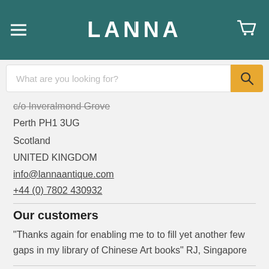LANNA
c/o Inveralmond Grove
Perth PH1 3UG
Scotland
UNITED KINGDOM
info@lannaantique.com
+44 (0) 7802 430932
Our customers
"Thanks again for enabling me to to fill yet another few gaps in my library of Chinese Art books" RJ, Singapore
GBP £